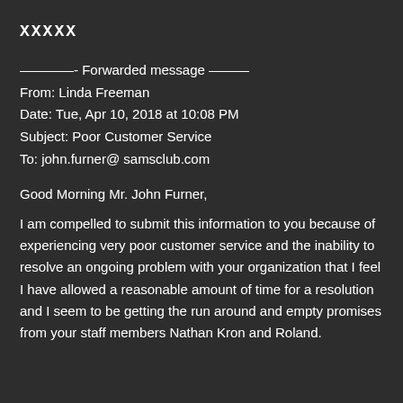XXXXX
———- Forwarded message ———
From: Linda Freeman
Date: Tue, Apr 10, 2018 at 10:08 PM
Subject: Poor Customer Service
To: john.furner@ samsclub.com
Good Morning Mr. John Furner,
I am compelled to submit this information to you because of experiencing very poor customer service and the inability to resolve an ongoing problem with your organization that I feel I have allowed a reasonable amount of time for a resolution and I seem to be getting the run around and empty promises from your staff members Nathan Kron and Roland.